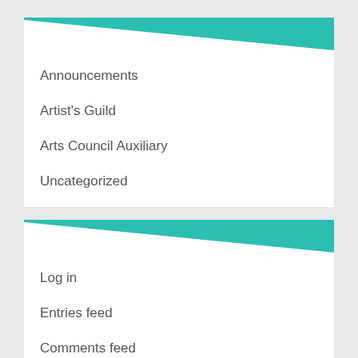CATEGORIES
Announcements
Artist's Guild
Arts Council Auxiliary
Uncategorized
META
Log in
Entries feed
Comments feed